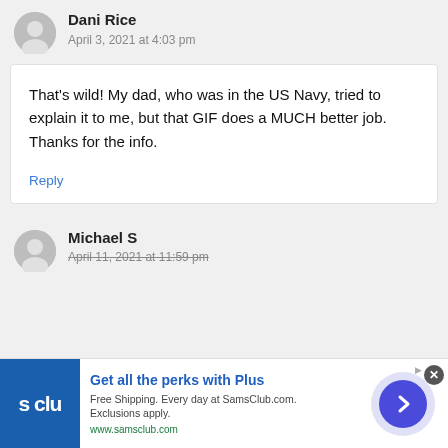Dani Rice
April 3, 2021 at 4:03 pm
That's wild! My dad, who was in the US Navy, tried to explain it to me, but that GIF does a MUCH better job. Thanks for the info.
Reply
Michael S
April 11, 2021 at 11:59 pm
[Figure (infographic): Sam's Club advertisement banner: logo on left, 'Get all the perks with Plus', 'Free Shipping. Every day at SamsClub.com. Exclusions apply.', 'www.samsclub.com', arrow button on right]